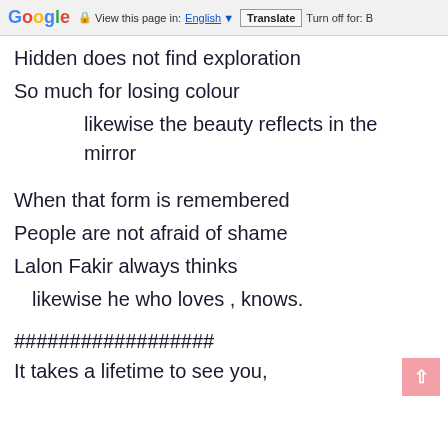Google  View this page in: English [▼]  Translate  Turn off for: B
Hidden does not find exploration
So much for losing colour
likewise the beauty reflects in the mirror
When that form is remembered
People are not afraid of shame
Lalon Fakir always thinks
likewise he who loves , knows.
##################
It takes a lifetime to see you,